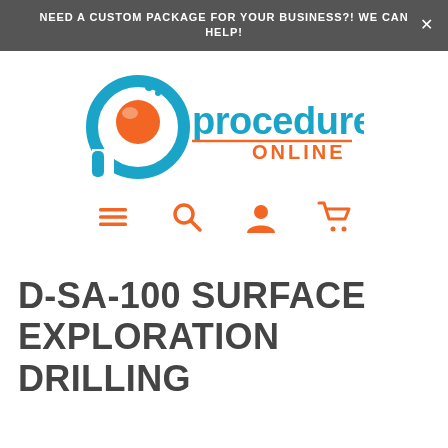NEED A CUSTOM PACKAGE FOR YOUR BUSINESS?! WE CAN HELP!
[Figure (logo): Procedures Online logo with circular blue/orange icon and text 'procedures ONLINE']
[Figure (infographic): Navigation icons: hamburger menu, search magnifier, user account, shopping cart — all in orange]
D-SA-100 SURFACE EXPLORATION DRILLING